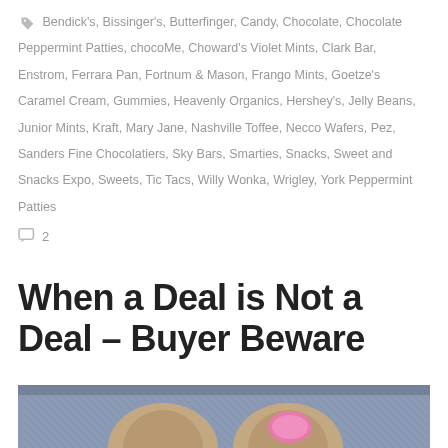Bendick's, Bissinger's, Butterfinger, Candy, Chocolate, Chocolate Peppermint Patties, chocoMe, Choward's Violet Mints, Clark Bar, Enstrom, Ferrara Pan, Fortnum & Mason, Frango Mints, Goetze's Caramel Cream, Gummies, Heavenly Organics, Hershey's, Jelly Beans, Junior Mints, Kraft, Mary Jane, Nashville Toffee, Necco Wafers, Pez, Sanders Fine Chocolatiers, Sky Bars, Smarties, Snacks, Sweet and Snacks Expo, Sweets, Tic Tacs, Willy Wonka, Wrigley, York Peppermint Patties
2
When a Deal is Not a Deal – Buyer Beware
[Figure (photo): Close-up photo of two fingers against denim fabric background, one finger has pink nail polish]